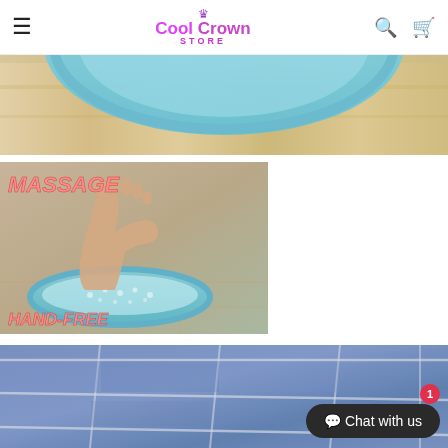Cool Crown Store
[Figure (photo): Close-up of a circular teal foot scrubber on a wooden floor, partially cropped at top of page]
[Figure (photo): Foot pressing on a circular teal massage foot scrubber on tiled floor, with text overlay 'MASSAGE' at top and 'HAND-FREE' at bottom in pink italic font]
[Figure (photo): Blue/grey tiled floor close-up with white grout lines, partially cropped at bottom of page]